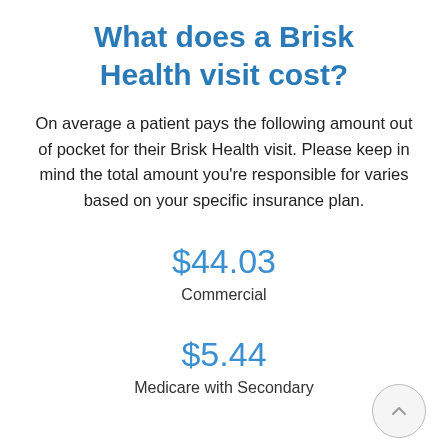What does a Brisk Health visit cost?
On average a patient pays the following amount out of pocket for their Brisk Health visit. Please keep in mind the total amount you're responsible for varies based on your specific insurance plan.
$44.03
Commercial
$5.44
Medicare with Secondary